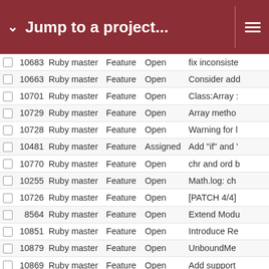Jump to a project...
|  | # | Project | Type | Status | Subject |
| --- | --- | --- | --- | --- | --- |
|  | 10683 | Ruby master | Feature | Open | fix inconsiste |
|  | 10663 | Ruby master | Feature | Open | Consider add |
|  | 10701 | Ruby master | Feature | Open | Class:Array : |
|  | 10729 | Ruby master | Feature | Open | Array metho |
|  | 10728 | Ruby master | Feature | Open | Warning for l |
|  | 10481 | Ruby master | Feature | Assigned | Add "if" and ' |
|  | 10770 | Ruby master | Feature | Open | chr and ord b |
|  | 10255 | Ruby master | Feature | Open | Math.log: ch |
|  | 10726 | Ruby master | Feature | Open | [PATCH 4/4] |
|  | 8564 | Ruby master | Feature | Open | Extend Modu |
|  | 10851 | Ruby master | Feature | Open | Introduce Re |
|  | 10879 | Ruby master | Feature | Open | UnboundMe |
|  | 10869 | Ruby master | Feature | Open | Add support |
|  | 10882 | Ruby master | Feature | Open | Provide Leve |
|  | 10927 | Ruby master | Feature | Open | [PATCH] Add |
|  | 10863 | Ruby master | Feature | Open | allow protect |
|  | 11028 | Ruby master | Feature | Assigned | standalone n install ..." |
|  | 10152 | Ruby master | Feature | Open | String#strip.c |